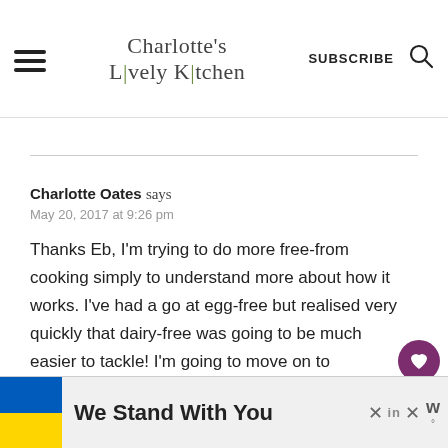Charlotte's Lively Kitchen
Charlotte Oates says
May 20, 2017 at 9:26 pm
Thanks Eb, I'm trying to do more free-from cooking simply to understand more about how it works. I've had a go at egg-free but realised very quickly that dairy-free was going to be much easier to tackle! I'm going to move on to
[Figure (infographic): We Stand With You ad banner with Ukrainian flag colors (blue and yellow)]